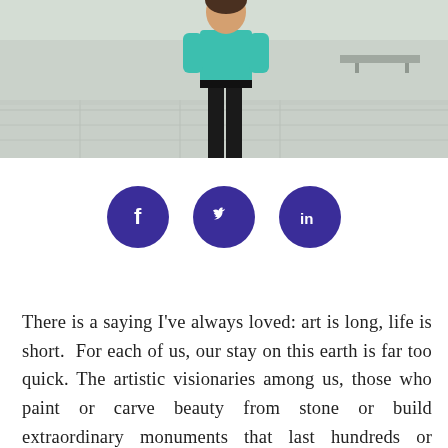[Figure (photo): Partial photo of a person standing outdoors wearing a teal/turquoise top and black pants, with a plaza or courtyard visible in the background.]
[Figure (infographic): Three dark purple circular social media icons in a row: Facebook (f), Twitter (bird), and LinkedIn (in).]
There is a saying I've always loved: art is long, life is short.  For each of us, our stay on this earth is far too quick. The artistic visionaries among us, those who paint or carve beauty from stone or build extraordinary monuments that last hundreds or thousands of years are remembered for their treasures. Their offerings measured, explained or carefully cared for within the walls of the world's museums. As observers we are